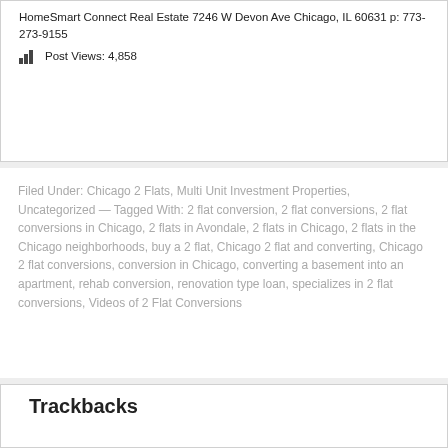HomeSmart Connect Real Estate 7246 W Devon Ave Chicago, IL 60631 p: 773-273-9155
Post Views: 4,858
Filed Under: Chicago 2 Flats, Multi Unit Investment Properties, Uncategorized — Tagged With: 2 flat conversion, 2 flat conversions, 2 flat conversions in Chicago, 2 flats in Avondale, 2 flats in Chicago, 2 flats in the Chicago neighborhoods, buy a 2 flat, Chicago 2 flat and converting, Chicago 2 flat conversions, conversion in Chicago, converting a basement into an apartment, rehab conversion, renovation type loan, specializes in 2 flat conversions, Videos of 2 Flat Conversions
Trackbacks